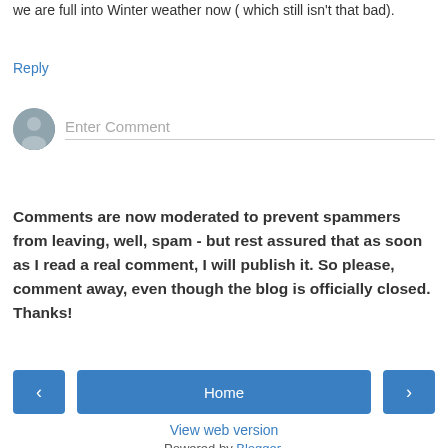we are full into Winter weather now ( which still isn't that bad).
Reply
[Figure (other): User avatar icon with comment input field showing placeholder text 'Enter Comment' and a horizontal line beneath]
Comments are now moderated to prevent spammers from leaving, well, spam - but rest assured that as soon as I read a real comment, I will publish it. So please, comment away, even though the blog is officially closed. Thanks!
< Home > View web version Powered by Blogger.